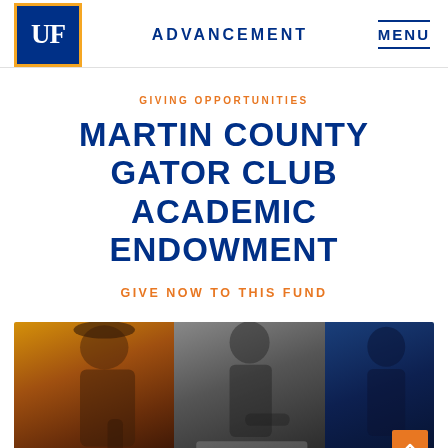[Figure (logo): University of Florida UF logo — dark blue square with gold border, white UF letters]
ADVANCEMENT
MENU
GIVING OPPORTUNITIES
MARTIN COUNTY GATOR CLUB ACADEMIC ENDOWMENT
GIVE NOW TO THIS FUND
[Figure (photo): Students studying together — warm orange-tinted man on left, grayscale woman in center writing, blue-tinted figure on right]